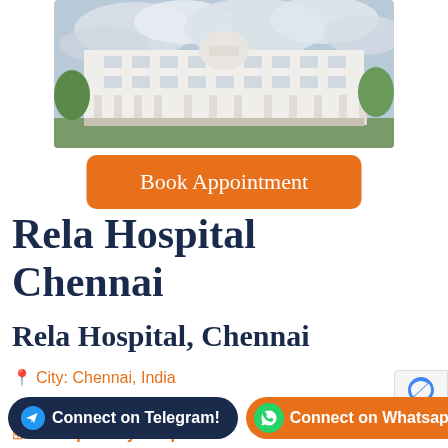[Figure (photo): Exterior photograph of Rela Hospital Chennai — a large white multi-storey building with a dome on top, classical columns, and green trees on the sides, under a cloudy sky.]
Book Appointment
Rela Hospital Chennai
Rela Hospital, Chennai
City: Chennai, India
Multispecialty Hospital
Connect on Telegram!
Connect on Whatsapp!